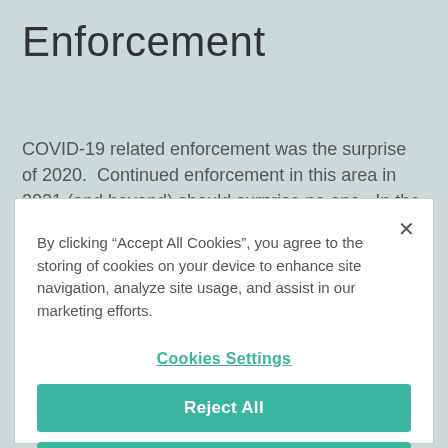Enforcement
COVID-19 related enforcement was the surprise of 2020.  Continued enforcement in this area in 2021 (and beyond) should surprise no one.  In the report, the HCE Unit states it will focus on prosecuting
By clicking "Accept All Cookies", you agree to the storing of cookies on your device to enhance site navigation, analyze site usage, and assist in our marketing efforts.
Cookies Settings
Reject All
Accept Cookies